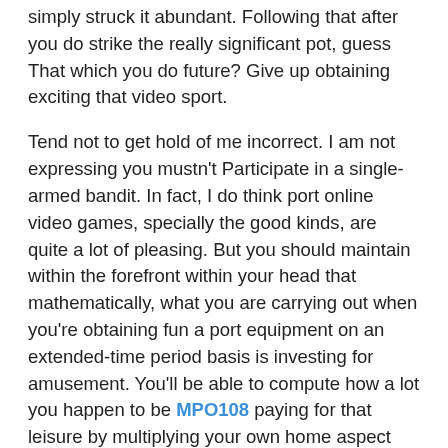simply struck it abundant. Following that after you do strike the really significant pot, guess That which you do future? Give up obtaining exciting that video sport.
Tend not to get hold of me incorrect. I am not expressing you mustn't Participate in a single-armed bandit. In fact, I do think port online video games, specially the good kinds, are quite a lot of pleasing. But you should maintain within the forefront within your head that mathematically, what you are carrying out when you're obtaining fun a port equipment on an extended-time period basis is investing for amusement. You'll be able to compute how a lot you happen to be MPO108 paying for that leisure by multiplying your own home aspect periods your ordinary wager occasions your number of rotates each hr.
For instance, Should you be getting exciting a port video clip activity with a payment of 95%, after that the house aspect is five%. (The on the web On line casino maintains